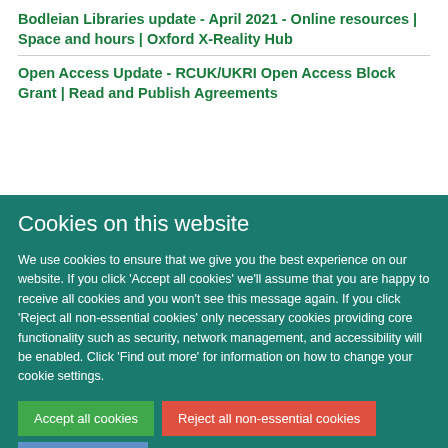Bodleian Libraries update - April 2021 - Online resources | Space and hours | Oxford X-Reality Hub
Open Access Update - RCUK/UKRI Open Access Block Grant | Read and Publish Agreements
Cookies on this website
We use cookies to ensure that we give you the best experience on our website. If you click 'Accept all cookies' we'll assume that you are happy to receive all cookies and you won't see this message again. If you click 'Reject all non-essential cookies' only necessary cookies providing core functionality such as security, network management, and accessibility will be enabled. Click 'Find out more' for information on how to change your cookie settings.